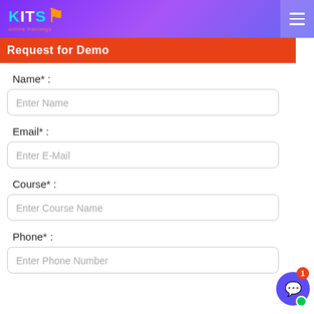KITS online trainings
Request for Demo
Name* :
Enter Name
Email* :
Enter E-Mail
Course* :
Enter Course Name
Phone* :
Enter Phone Number